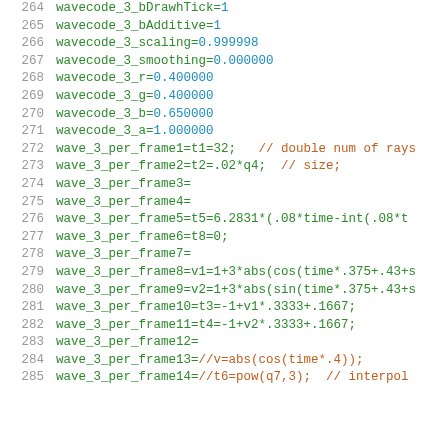264  wavecode_3_bDrawhTick=1
265  wavecode_3_bAdditive=1
266  wavecode_3_scaling=0.999998
267  wavecode_3_smoothing=0.000000
268  wavecode_3_r=0.400000
269  wavecode_3_g=0.400000
270  wavecode_3_b=0.650000
271  wavecode_3_a=1.000000
272  wave_3_per_frame1=t1=32;   // double num of rays
273  wave_3_per_frame2=t2=.02*q4;  // size;
274  wave_3_per_frame3=
275  wave_3_per_frame4=
276  wave_3_per_frame5=t5=6.2831*(.08*time-int(.08*t
277  wave_3_per_frame6=t8=0;
278  wave_3_per_frame7=
279  wave_3_per_frame8=v1=1+3*abs(cos(time*.375+.43+s
280  wave_3_per_frame9=v2=1+3*abs(sin(time*.375+.43+s
281  wave_3_per_frame10=t3=-1+v1*.3333+.1667;
282  wave_3_per_frame11=t4=-1+v2*.3333+.1667;
283  wave_3_per_frame12=
284  wave_3_per_frame13=//v=abs(cos(time*.4));
285  wave_3_per_frame14=//t6=pow(q7,3);  // interpol